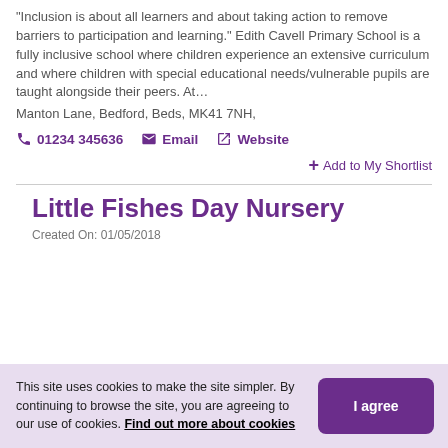“Inclusion is about all learners and about taking action to remove barriers to participation and learning.” Edith Cavell Primary School is a fully inclusive school where children experience an extensive curriculum and where children with special educational needs/vulnerable pupils are taught alongside their peers. At…
Manton Lane, Bedford, Beds, MK41 7NH,
01234 345636   Email   Website
+ Add to My Shortlist
Little Fishes Day Nursery
Created On: 01/05/2018
This site uses cookies to make the site simpler. By continuing to browse the site, you are agreeing to our use of cookies. Find out more about cookies